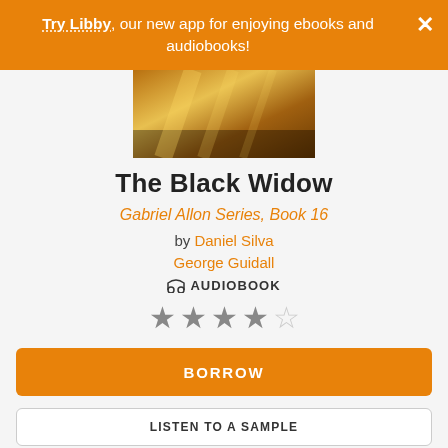Try Libby, our new app for enjoying ebooks and audiobooks!
[Figure (photo): Book cover image with warm golden/amber tones, appears to be a street or bridge scene]
The Black Widow
Gabriel Allon Series, Book 16
by Daniel Silva
George Guidall
🎧 AUDIOBOOK
★★★★☆ (4 out of 5 stars)
BORROW
LISTEN TO A SAMPLE